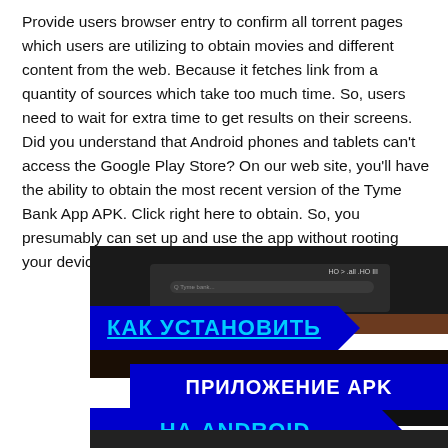Provide users browser entry to confirm all torrent pages which users are utilizing to obtain movies and different content from the web. Because it fetches link from a quantity of sources which take too much time. So, users need to wait for extra time to get results on their screens. Did you understand that Android phones and tablets can't access the Google Play Store? On our web site, you'll have the ability to obtain the most recent version of the Tyme Bank App APK. Click right here to obtain. So, you presumably can set up and use the app without rooting your device.
[Figure (photo): Screenshot of a phone showing app installation steps with Russian text overlaid on blue banners reading КАК УСТАНОВИТЬ / ПРИЛОЖЕНИЕ APK / НА ANDROID]